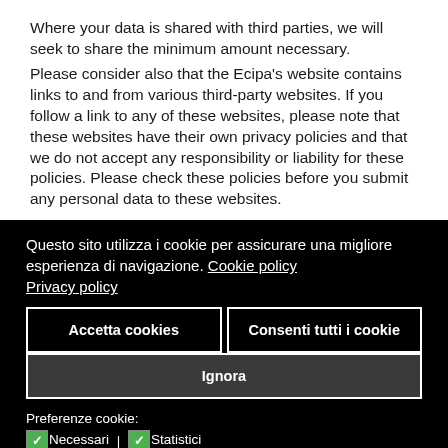Where your data is shared with third parties, we will seek to share the minimum amount necessary.
Please consider also that the Ecipa's website contains links to and from various third-party websites. If you follow a link to any of these websites, please note that these websites have their own privacy policies and that we do not accept any responsibility or liability for these policies. Please check these policies before you submit any personal data to these websites.
Questo sito utilizza i cookie per assicurare una migliore esperienza di navigazione. Cookie policy
Privacy policy
Accetta cookies | Consenti tutti i cookie | Ignora
Preferenze cookie:
✓Necessari | ✓Statistici